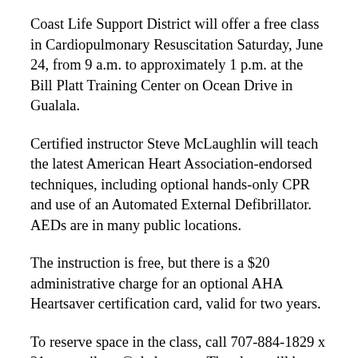Coast Life Support District will offer a free class in Cardiopulmonary Resuscitation Saturday, June 24, from 9 a.m. to approximately 1 p.m. at the Bill Platt Training Center on Ocean Drive in Gualala.
Certified instructor Steve McLaughlin will teach the latest American Heart Association-endorsed techniques, including optional hands-only CPR and use of an Automated External Defibrillator. AEDs are in many public locations.
The instruction is free, but there is a $20 administrative charge for an optional AHA Heartsaver certification card, valid for two years.
To reserve space in the class, call 707-884-1829 x 31 or email cpr@clsd.ca.gov. The class will be canceled unless at four or more people preregister by noon on the Thursday before the class.